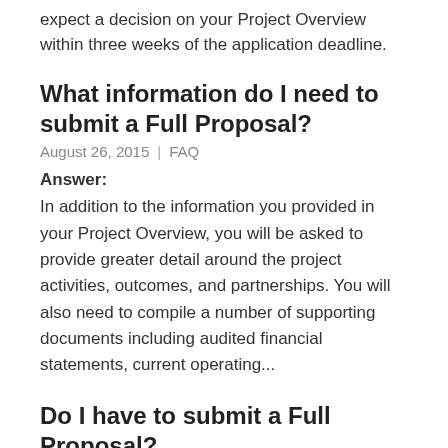expect a decision on your Project Overview within three weeks of the application deadline.
What information do I need to submit a Full Proposal?
August 26, 2015  |  FAQ
Answer:
In addition to the information you provided in your Project Overview, you will be asked to provide greater detail around the project activities, outcomes, and partnerships. You will also need to compile a number of supporting documents including audited financial statements, current operating...
Do I have to submit a Full Proposal?
August 26, 2015  |  FAQ
Answer: